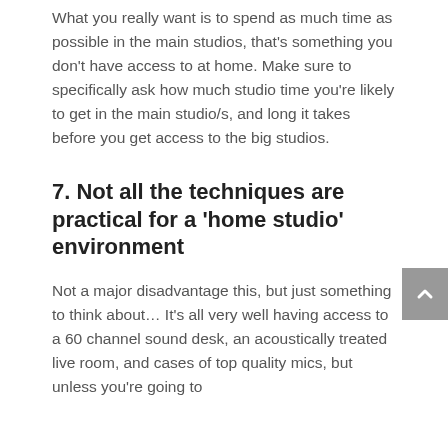What you really want is to spend as much time as possible in the main studios, that's something you don't have access to at home. Make sure to specifically ask how much studio time you're likely to get in the main studio/s, and long it takes before you get access to the big studios.
7. Not all the techniques are practical for a 'home studio' environment
Not a major disadvantage this, but just something to think about… It's all very well having access to a 60 channel sound desk, an acoustically treated live room, and cases of top quality mics, but unless you're going to